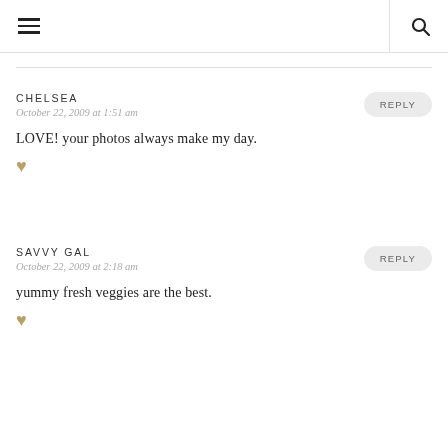≡  🔍
CHELSEA
October 22, 2009 at 1:51 am
REPLY
LOVE! your photos always make my day. ♥
SAVVY GAL
October 22, 2009 at 2:18 am
REPLY
yummy fresh veggies are the best. ♥